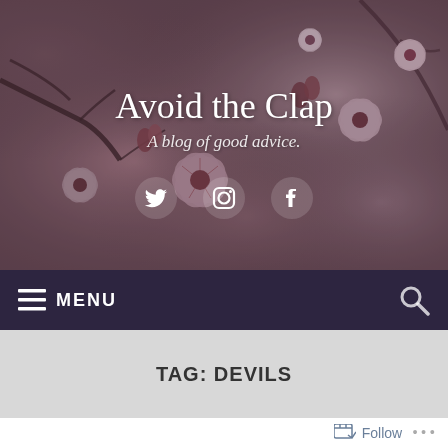[Figure (photo): Cherry blossom flowers background photo with pink blossoms on branches, used as header image]
Avoid the Clap
A blog of good advice.
[Figure (infographic): Social media icons: Twitter bird, Instagram camera, Facebook 'f' logo, displayed in white on the header image]
≡ MENU
TAG: DEVILS
Follow ...